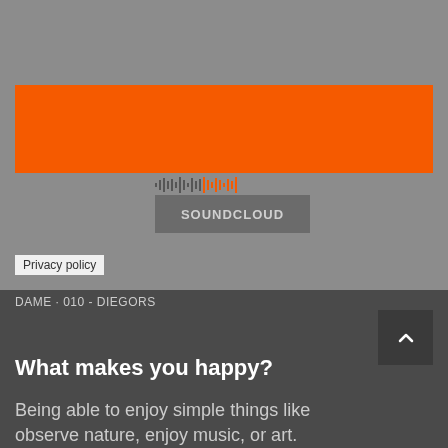[Figure (screenshot): SoundCloud embedded player with orange waveform bar on gray background]
Privacy policy
DAME · 010 - DIEGORS
What makes you happy?
Being able to enjoy simple things like observe nature, enjoy music, or art.